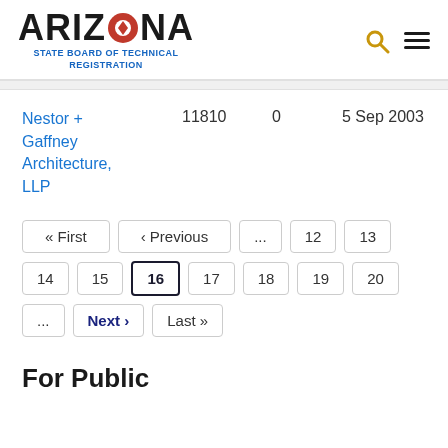[Figure (logo): Arizona State Board of Technical Registration logo with search and menu icons]
Nestor + Gaffney Architecture, LLP	11810	0	5 Sep 2003
« First
‹ Previous
...
12
13
14
15
16
17
18
19
20
...
Next ›
Last »
For Public